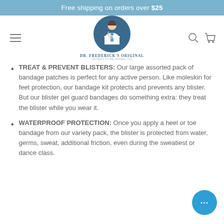Free shipping on orders over $25
[Figure (logo): Dr. Frederick's Original logo with doctor illustration in blue circle]
TREAT & PREVENT BLISTERS: Our large assorted pack of bandage patches is perfect for any active person. Like moleskin for feet protection, our bandage kit protects and prevents any blister. But our blister gel guard bandages do something extra: they treat the blister while you wear it.
WATERPROOF PROTECTION: Once you apply a heel or toe bandage from our variety pack, the blister is protected from water, germs, sweat, additional friction, even during the sweatiest or dance class.